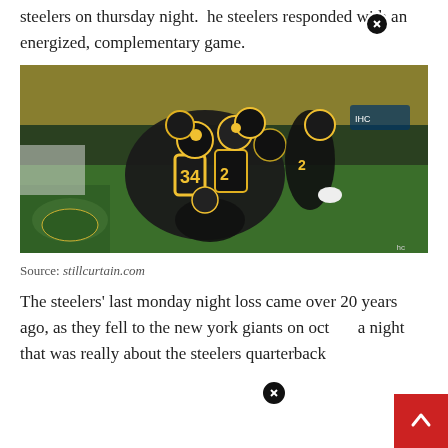steelers on thursday night. The steelers responded with an energized, complementary game.
[Figure (photo): Pittsburgh Steelers players in black and yellow uniforms celebrating in the end zone, number 34 visible, stadium crowd in background]
Source: stillcurtain.com
The steelers' last monday night loss came over 20 years ago, as they fell to the new york giants on oct a night that was really about the steelers quarterback